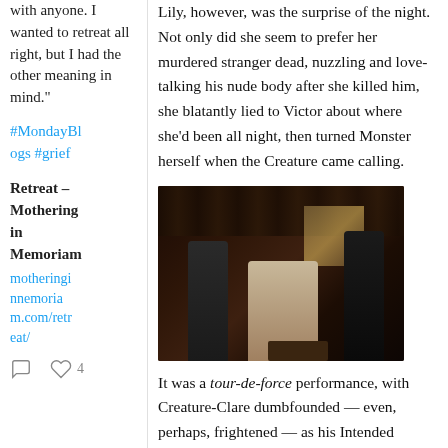with anyone. I wanted to retreat all right, but I had the other meaning in mind."
#MondayBlogs #grief
Retreat – Mothering in Memoriam
motheringinmemoriam.com/retreat/
4
Lily, however, was the surprise of the night. Not only did she seem to prefer her murdered stranger dead, nuzzling and love-talking his nude body after she killed him, she blatantly lied to Victor about where she'd been all night, then turned Monster herself when the Creature came calling.
[Figure (photo): A dark tavern/bar scene with three figures: a man in dark clothing on the left, a woman in a light-colored dress seated in the center, and a man in dark clothing on the right. The background shows shelves and a window with warm light.]
It was a tour-de-force performance, with Creature-Clare dumbfounded — even, perhaps, frightened — as his Intended Bride, Lily, ranted about how women